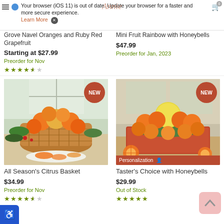Your browser (iOS 11) is out of date. Update your browser for a faster and more secure experience. Learn More X
Grove Navel Oranges and Ruby Red Grapefruit
Starting at $27.99
Preorder for Nov
Mini Fruit Rainbow with Honeybells
$47.99
Preorder for Jan, 2023
[Figure (photo): All Season's Citrus Basket - basket of oranges and grapefruit with NEW badge]
All Season's Citrus Basket
$34.99
Preorder for Nov
[Figure (photo): Taster's Choice with Honeybells - box of citrus fruits with NEW badge and Personalization option]
Taster's Choice with Honeybells
$29.99
Out of Stock